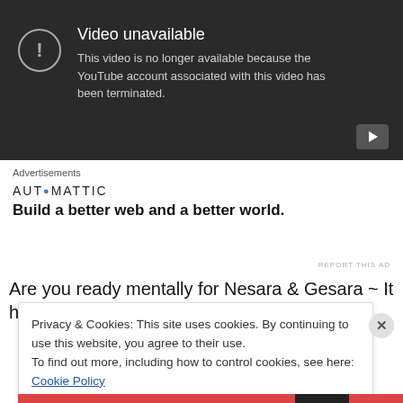[Figure (screenshot): YouTube 'Video unavailable' error screen with dark background, showing an exclamation mark icon in a circle, the title 'Video unavailable', and the message 'This video is no longer available because the YouTube account associated with this video has been terminated.' A play button icon is visible in the bottom right corner.]
Advertisements
[Figure (logo): Automattic logo with stylized dot, followed by tagline 'Build a better web and a better world.']
REPORT THIS AD
Are you ready mentally for Nesara & Gesara ~ It has
Privacy & Cookies: This site uses cookies. By continuing to use this website, you agree to their use.
To find out more, including how to control cookies, see here: Cookie Policy
Close and accept